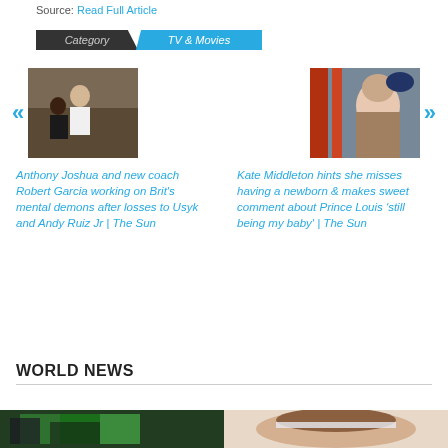Source: Read Full Article
Category  TV & Movies
[Figure (photo): Thumbnail photo of two people (boxer Anthony Joshua with coach), with left navigation arrow]
[Figure (photo): Thumbnail photo of Kate Middleton, with right navigation arrow]
Anthony Joshua and new coach Robert Garcia working on Brit's mental demons after losses to Usyk and Andy Ruiz Jr | The Sun
Kate Middleton hints she misses having a newborn & makes sweet comment about Prince Louis 'still being my baby' | The Sun
WORLD NEWS
[Figure (photo): Photo of building with green rolling shutters/doors]
[Figure (photo): Photo of a woman's face with hairband]